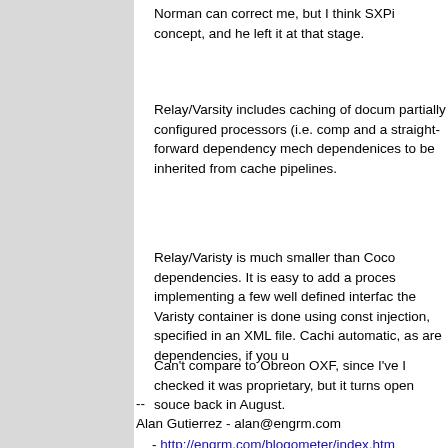Norman can correct me, but I think SXPi concept, and he left it at that stage.
Relay/Varsity includes caching of docum partially configured processors (i.e. comp and a straight-forward dependency mech dependenices to be inherited from cache pipelines.
Relay/Varisty is much smaller than Coco dependencies. It is easy to add a proces implementing a few well defined interfac the Varisty container is done using const injection, specified in an XML file. Cachi automatic, as are dependencies, if you u
Can't compare to Obreon OXF, since I've I checked it was proprietary, but it turns open souce back in August.
--
Alan Gutierrez - alan@engrm.com
  - http://engrm.com/blogometer/index.htm
  - http://engrm.com/blogometer/rss.2.0.xn